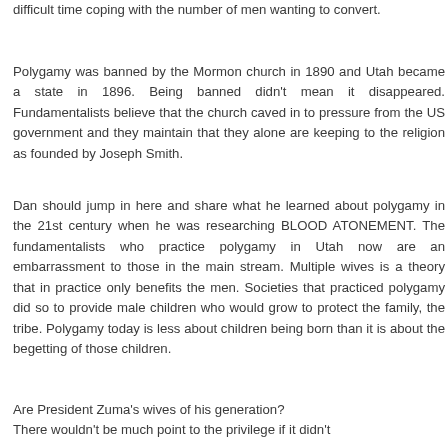difficult time coping with the number of men wanting to convert.
Polygamy was banned by the Mormon church in 1890 and Utah became a state in 1896. Being banned didn't mean it disappeared. Fundamentalists believe that the church caved in to pressure from the US government and they maintain that they alone are keeping to the religion as founded by Joseph Smith.
Dan should jump in here and share what he learned about polygamy in the 21st century when he was researching BLOOD ATONEMENT. The fundamentalists who practice polygamy in Utah now are an embarrassment to those in the main stream. Multiple wives is a theory that in practice only benefits the men. Societies that practiced polygamy did so to provide male children who would grow to protect the family, the tribe. Polygamy today is less about children being born than it is about the begetting of those children.
Are President Zuma's wives of his generation?
There wouldn't be much point to the privilege if it didn't